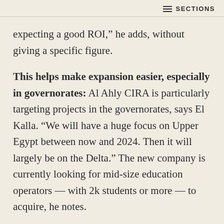SECTIONS
expecting a good ROI,” he adds, without giving a specific figure.
This helps make expansion easier, especially in governorates: Al Ahly CIRA is particularly targeting projects in the governorates, says El Kalla. “We will have a huge focus on Upper Egypt between now and 2024. Then it will largely be on the Delta.” The new company is currently looking for mid-size education operators — with 2k students or more — to acquire, he notes.
PPP platforms also allow the investor options for a successful exit: “Exits are easier because you have something big that you can be listed in the